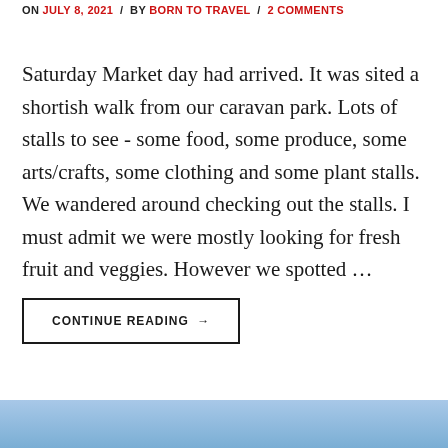ON JULY 8, 2021 / BY BORN TO TRAVEL / 2 COMMENTS
Saturday Market day had arrived. It was sited a shortish walk from our caravan park. Lots of stalls to see - some food, some produce, some arts/crafts, some clothing and some plant stalls. We wandered around checking out the stalls. I must admit we were mostly looking for fresh fruit and veggies. However we spotted …
CONTINUE READING →
[Figure (illustration): Light blue gradient footer background]